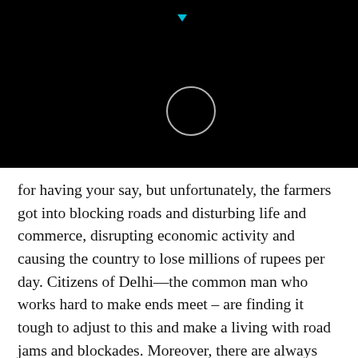[Figure (other): Black background with a white circle outline and a small cyan downward-pointing triangle at the top center]
for having your say, but unfortunately, the farmers got into blocking roads and disturbing life and commerce, disrupting economic activity and causing the country to lose millions of rupees per day. Citizens of Delhi—the common man who works hard to make ends meet – are finding it tough to adjust to this and make a living with road jams and blockades. Moreover, there are always enemies of the nation and people with vested interests who see these protests as fertile ground to run their agendas and flare passions. Needless to say, these protest sites can also be the new Covid hotspots and super-spreaders.